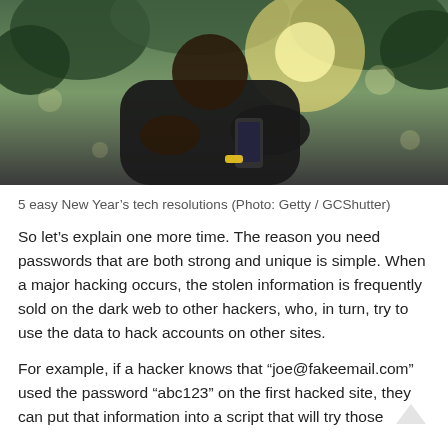[Figure (photo): A man in a dark t-shirt holding a smartphone outdoors with bright sunlight and trees in the background]
5 easy New Year’s tech resolutions (Photo: Getty / GCShutter)
So let’s explain one more time. The reason you need passwords that are both strong and unique is simple. When a major hacking occurs, the stolen information is frequently sold on the dark web to other hackers, who, in turn, try to use the data to hack accounts on other sites.
For example, if a hacker knows that “joe@fakeemail.com” used the password “abc123” on the first hacked site, they can put that information into a script that will try those